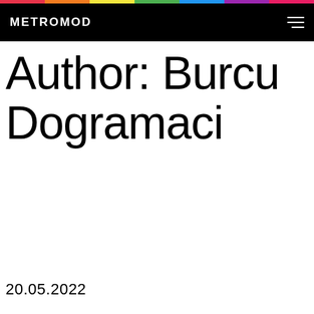METROMOD
Author: Burcu Dogramaci
20.05.2022